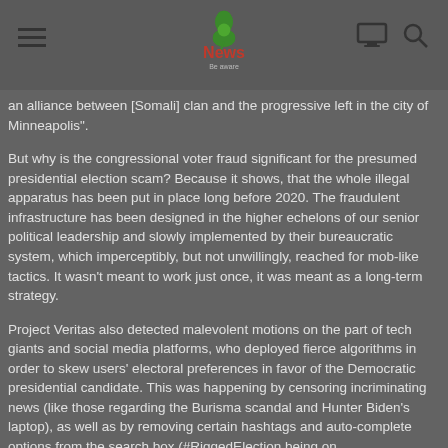News
an alliance between [Somali] clan and the progressive left in the city of Minneapolis".
But why is the congressional voter fraud significant for the presumed presidential election scam? Because it shows, that the whole illegal apparatus has been put in place long before 2020. The fraudulent infrastructure has been designed in the higher echelons of our senior political leadership and slowly implemented by their bureaucratic system, which imperceptibly, but not unwillingly, reached for mob-like tactics. It wasn't meant to work just once, it was meant as a long-term strategy.
Project Veritas also detected malevolent motions on the part of tech giants and social media platforms, who deployed fierce algorithms in order to skew users' electoral preferences in favor of the Democratic presidential candidate. This was happening by censoring incriminating news (like those regarding the Burisma scandal and Hunter Biden's laptop), as well as by removing certain hashtags and auto-complete options from the search box (#RiggedElection being one...